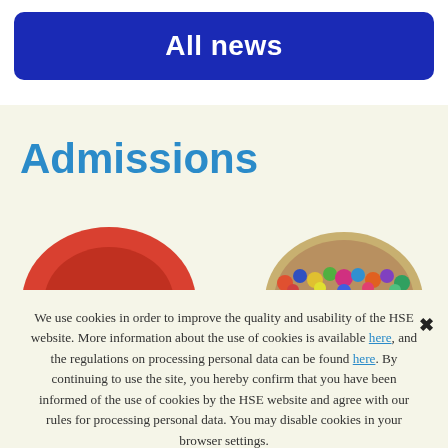All news
Admissions
[Figure (illustration): Two partially visible circular images: left shows a red dome/hat shape, right shows a colorful crowd of people viewed from above.]
We use cookies in order to improve the quality and usability of the HSE website. More information about the use of cookies is available here, and the regulations on processing personal data can be found here. By continuing to use the site, you hereby confirm that you have been informed of the use of cookies by the HSE website and agree with our rules for processing personal data. You may disable cookies in your browser settings.